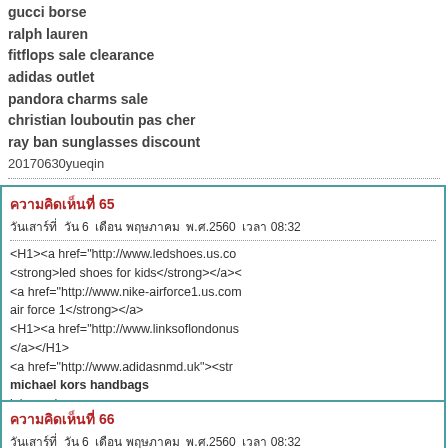gucci borse
ralph lauren
fitflops sale clearance
adidas outlet
pandora charms sale
christian louboutin pas cher
ray ban sunglasses discount
20170630yueqin
ผู้ส่ง : chenyueqin1997@gmail.com   ไอพี :
ความคิดเห็นที่ 65
วันเสาร์ที่ วัน 6 เดือน พฤษภาคม พ.ศ.2560 เวลา 08:32
<H1><a href="http://www.ledshoes.us.co
<strong>led shoes for kids</strong></a><
<a href="http://www.nike-airforce1.us.com
air force 1</strong></a>
<H1><a href="http://www.linksoflondonus</a></H1>
<a href="http://www.adidasnmd.uk"><str
michael kors handbags
lebron shoes
http://www.ledshoes.us.com
ผู้ส่ง : wwwww   ไอพี : 23.19.195.114
ความคิดเห็นที่ 66
วันเสาร์ที่ วัน 6 เดือน พฤษภาคม พ.ศ.2560 เวลา 08:32